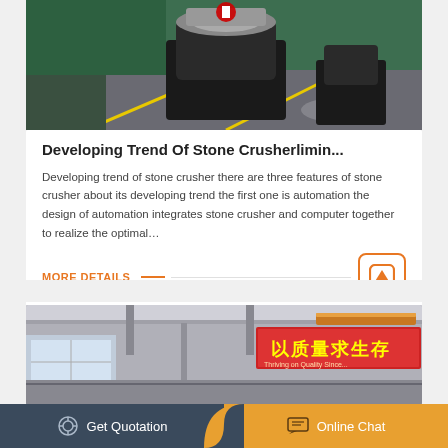[Figure (photo): Factory interior showing stone crusher machinery on a green floor with yellow markings]
Developing Trend Of Stone Crusherlimin...
Developing trend of stone crusher there are three features of stone crusher about its developing trend the first one is automation the design of automation integrates stone crusher and computer together to realize the optimal…
MORE DETAILS
[Figure (photo): Factory interior with Chinese signage reading 以质量求生存 (Survive by quality)]
Get Quotation
Online Chat